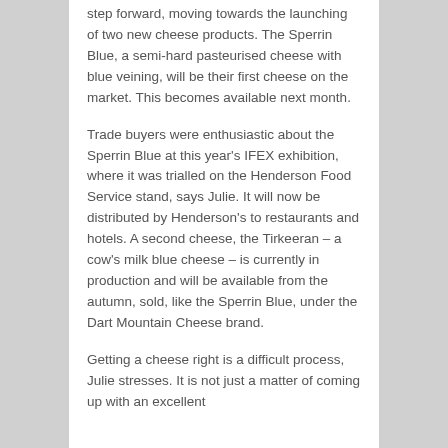step forward, moving towards the launching of two new cheese products. The Sperrin Blue, a semi-hard pasteurised cheese with blue veining, will be their first cheese on the market. This becomes available next month.
Trade buyers were enthusiastic about the Sperrin Blue at this year's IFEX exhibition, where it was trialled on the Henderson Food Service stand, says Julie. It will now be distributed by Henderson's to restaurants and hotels. A second cheese, the Tirkeeran – a cow's milk blue cheese – is currently in production and will be available from the autumn, sold, like the Sperrin Blue, under the Dart Mountain Cheese brand.
Getting a cheese right is a difficult process, Julie stresses. It is not just a matter of coming up with an excellent recipe and sourcing the ingredients b...